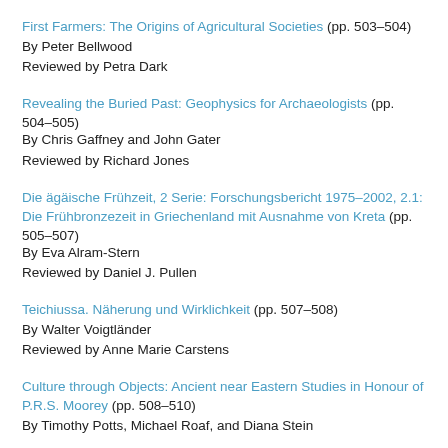First Farmers: The Origins of Agricultural Societies (pp. 503–504)
By Peter Bellwood
Reviewed by Petra Dark
Revealing the Buried Past: Geophysics for Archaeologists (pp. 504–505)
By Chris Gaffney and John Gater
Reviewed by Richard Jones
Die ägäische Frühzeit, 2 Serie: Forschungsbericht 1975–2002, 2.1: Die Frühbronzezeit in Griechenland mit Ausnahme von Kreta (pp. 505–507)
By Eva Alram-Stern
Reviewed by Daniel J. Pullen
Teichiussa. Näherung und Wirklichkeit (pp. 507–508)
By Walter Voigtländer
Reviewed by Anne Marie Carstens
Culture through Objects: Ancient near Eastern Studies in Honour of P.R.S. Moorey (pp. 508–510)
By Timothy Potts, Michael Roaf, and Diana Stein